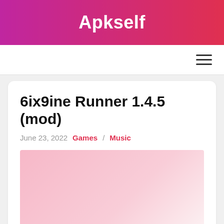Apkself
6ix9ine Runner 1.4.5 (mod)
June 23, 2022   Games / Music
[Figure (illustration): Pink/rose colored image placeholder area]
Information of 6ix9ine Runner